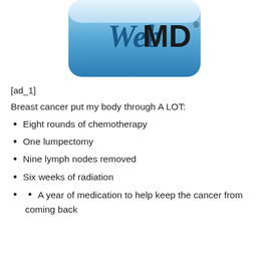[Figure (logo): WebMD logo — blue rounded rectangle with WebMD text in white/blue serif font]
[ad_1]
Breast cancer put my body through A LOT:
Eight rounds of chemotherapy
One lumpectomy
Nine lymph nodes removed
Six weeks of radiation
A year of medication to help keep the cancer from coming back